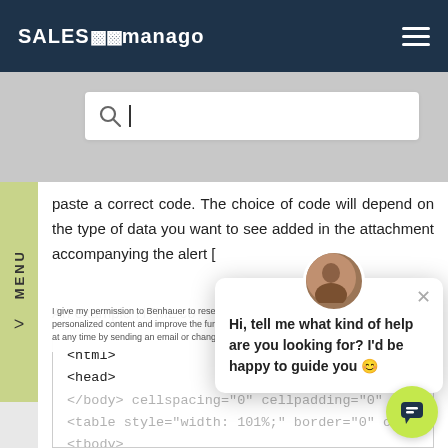SALESmanago
[Figure (screenshot): Search bar with magnifying glass icon and cursor]
paste a correct code. The choice of code will depend on the type of data you want to see added in the attachment accompanying the alert [
An example HTML co
[Figure (screenshot): Code snippet showing <html> <head> tags in monospace font]
[Figure (other): Chat popup with avatar: Hi, tell me what kind of help are you looking for? I'd be happy to guide you]
I give my permission to Benhauer to research my preferences which will facilitate conveying personalized content and improve the functioning of this website. The consent can be withheld at any time by sending an email or changing the browser settings.
[Figure (screenshot): Code snippet showing <body cellspacing="0" cellpadding="0" lef and <table style="width: 101%;" border="0" cel and <tbody>]